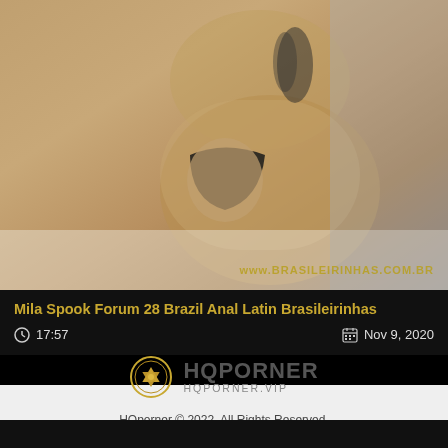[Figure (photo): Video thumbnail showing a person from behind with tattoos and black underwear, with watermark text www.BRASILEIRINHAS.COM.BR]
Mila Spook Forum 28 Brazil Anal Latin Brasileirinhas
17:57   Nov 9, 2020
[Figure (logo): HQPorner logo with circular aperture icon in gold/grey, text HQPORNER in bold grey, subtitle HQPORNER.VIP]
HQporner © 2022. All Rights Reserved.
Home | Pornstars | Free HQPorner Porn Videos | DMCA